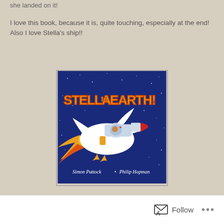she landed on it!
I love this book, because it is, quite touching, especially at the end! Also I love Stella's ship!!
[Figure (photo): Book cover of 'Stella to Earth!' by Simon Puttock and Philip Hopman. Features a white bird-shaped rocket with a child astronaut in a helmet flying through space. Large yellow comic-book style text reads 'STELLA to EARTH!' with orange and yellow rocket flame exhaust.]
Follow ...